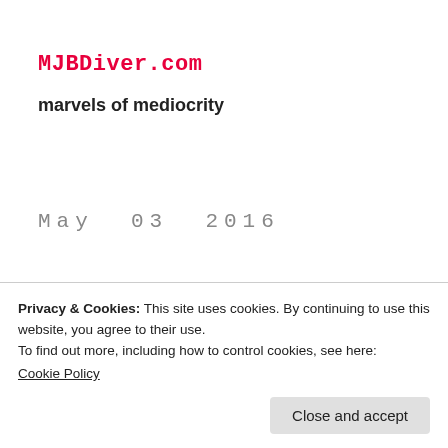MJBDiver.com
marvels of mediocrity
May  03  2016
Murder at
Privacy & Cookies: This site uses cookies. By continuing to use this website, you agree to their use.
To find out more, including how to control cookies, see here:
Cookie Policy
Close and accept